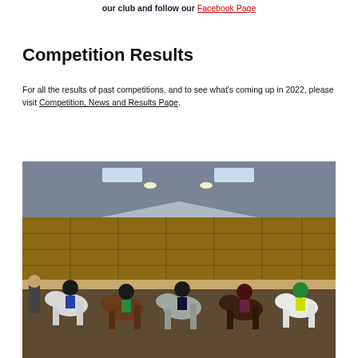our club and follow our Facebook Page
Competition Results
For all the results of past competitions, and to see what's coming up in 2022, please visit Competition, News and Results Page.
[Figure (photo): Group of riders on horseback inside an indoor equestrian arena. Five riders on horses/ponies of various colours (grey, dapple grey, dark bay, and white) lined up facing the camera. One person in a yellow high-visibility jacket is on the right. The arena has a steel frame roof with skylights and wooden-panelled walls.]